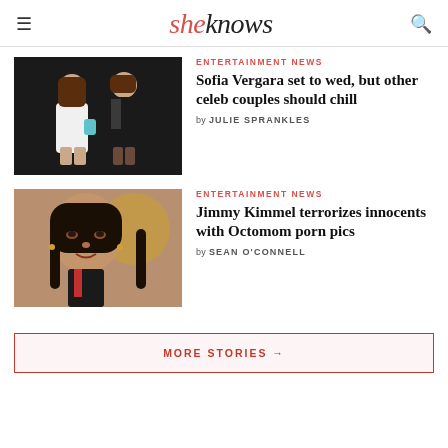sheknows
[Figure (photo): Celebrity couple photo - woman in white dress and man in dark jacket]
ENTERTAINMENT NEWS
Sofia Vergara set to wed, but other celeb couples should chill
by JULIE SPRANKLES
[Figure (photo): Close-up portrait of a woman with dark hair]
ENTERTAINMENT NEWS
Jimmy Kimmel terrorizes innocents with Octomom porn pics
by SEAN O'CONNELL
MORE STORIES →